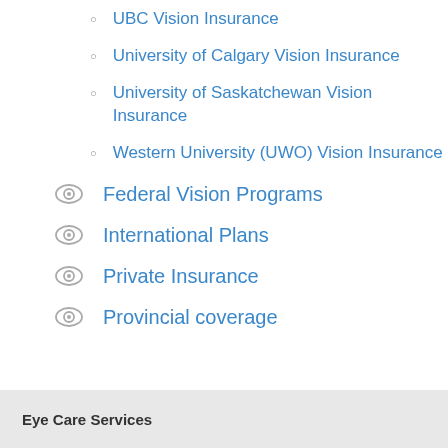UBC Vision Insurance
University of Calgary Vision Insurance
University of Saskatchewan Vision Insurance
Western University (UWO) Vision Insurance
Federal Vision Programs
International Plans
Private Insurance
Provincial coverage
Eye Care Services